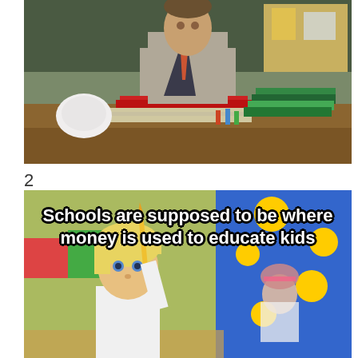[Figure (photo): A teacher or school administrator in a suit and tie sitting at a desk covered with stacks of red and green binders, folders, and papers in a classroom setting]
2
[Figure (photo): A young blonde child at a school desk holding a pencil up, looking thoughtful, with other children visible in the background in a colorful classroom]
Schools are supposed to be where money is used to educate kids